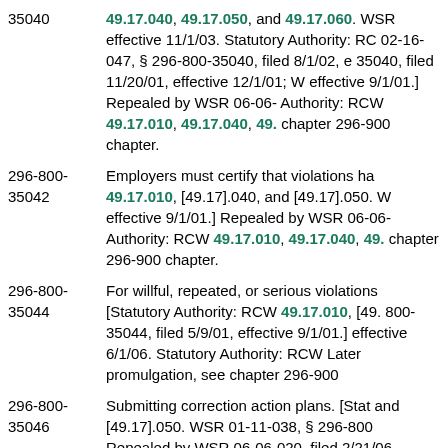35040 — 49.17.040, 49.17.050, and 49.17.060. WSR effective 11/1/03. Statutory Authority: RC 02-16-047, § 296-800-35040, filed 8/1/02, e 35040, filed 11/20/01, effective 12/1/01; W effective 9/1/01.] Repealed by WSR 06-06- Authority: RCW 49.17.010, 49.17.040, 49. chapter 296-900 chapter.
296-800-35042 — Employers must certify that violations ha 49.17.010, [49.17].040, and [49.17].050. W effective 9/1/01.] Repealed by WSR 06-06- Authority: RCW 49.17.010, 49.17.040, 49. chapter 296-900 chapter.
296-800-35044 — For willful, repeated, or serious violations [Statutory Authority: RCW 49.17.010, [49. 800-35044, filed 5/9/01, effective 9/1/01.] effective 6/1/06. Statutory Authority: RCW Later promulgation, see chapter 296-900
296-800-35046 — Submitting correction action plans. [Stat and [49.17].050. WSR 01-11-038, § 296-800 Repealed by WSR 06-06-020, filed 2/21/06 49.17.010, 49.17.040, 49.17.050, 49.17.06